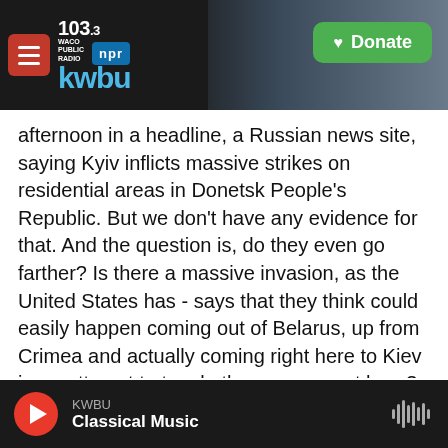KWBU 103.3 WACO PUBLIC RADIO — NPR | Donate
afternoon in a headline, a Russian news site, saying Kyiv inflicts massive strikes on residential areas in Donetsk People's Republic. But we don't have any evidence for that. And the question is, do they even go farther? Is there a massive invasion, as the United States has - says that they think could easily happen coming out of Belarus, up from Crimea and actually coming right here to Kiev in an attempt to topple the government here?
CHANG: All right. Well, Charles, as we mentioned, you were in the border region with Ukraine today, the Donbas, from where many people have been
KWBU — Classical Music